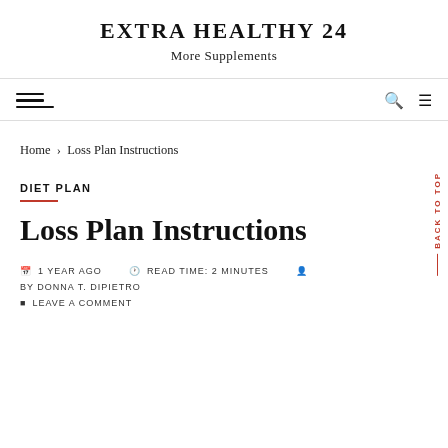EXTRA HEALTHY 24
More Supplements
Home › Loss Plan Instructions
DIET PLAN
Loss Plan Instructions
1 YEAR AGO   READ TIME: 2 MINUTES   BY DONNA T. DIPIETRO
LEAVE A COMMENT